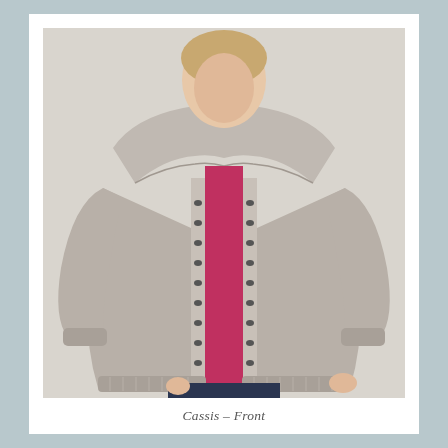[Figure (photo): A person wearing a grey knitted open-front cardigan with lace-pattern vertical panels and a wide folded collar, worn over a magenta/red polo shirt with dark jeans. The person is standing against a plain light background.]
Cassis – Front